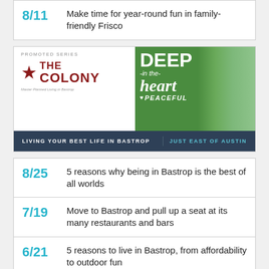8/11 Make time for year-round fun in family-friendly Frisco
[Figure (infographic): Promoted series ad for The Colony at Bastrop. Shows star logo with THE COLONY text, Deep in the Heart Peaceful green overlay with nature photo, and dark banner reading LIVING YOUR BEST LIFE IN BASTROP JUST EAST OF AUSTIN]
8/25 5 reasons why being in Bastrop is the best of all worlds
7/19 Move to Bastrop and pull up a seat at its many restaurants and bars
6/21 5 reasons to live in Bastrop, from affordability to outdoor fun